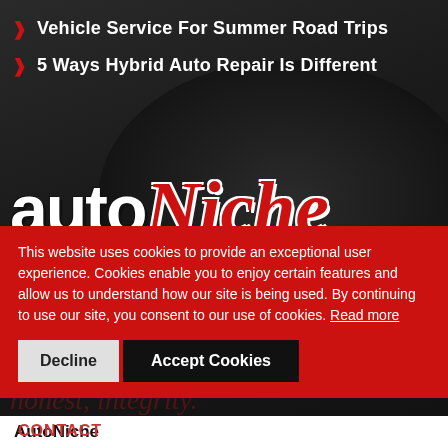Vehicle Service For Summer Road Trips
5 Ways Hybrid Auto Repair Is Different
[Figure (logo): autoNiche logo with 'auto' in white bold sans-serif and 'Niche' in red italic serif script, overlaid on dark car background]
This website uses cookies to provide an exceptional user experience. Cookies enable you to enjoy certain features and allow us to understand how our site is being used. By continuing to use our site, you consent to our use of cookies. Read more
Decline  Accept Cookies
CONTACT
AutoNiche